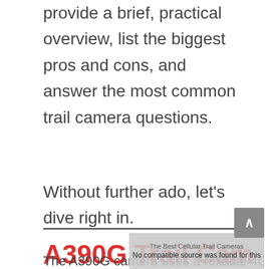provide a brief, practical overview, list the biggest pros and cons, and answer the most common trail camera questions.
Without further ado, let’s dive right in.
A390G Trail Cam 4G LTE
The Best Cellular Trail Cameras
No compatible source was found for this
The A390G camera uses a reliable 4G LTE